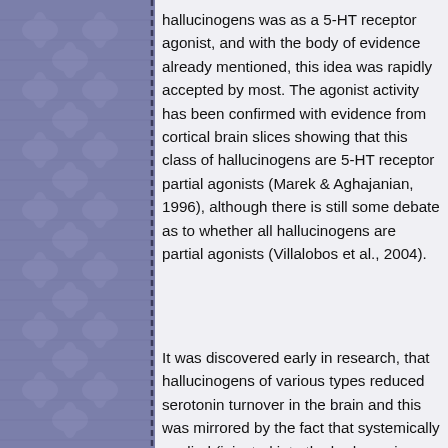[Figure (illustration): Decorative purple/blue floral patterned left border with dashed vertical dividing line]
hallucinogens was as a 5-HT receptor agonist, and with the body of evidence already mentioned, this idea was rapidly accepted by most. The agonist activity has been confirmed with evidence from cortical brain slices showing that this class of hallucinogens are 5-HT receptor partial agonists (Marek & Aghajanian, 1996), although there is still some debate as to whether all hallucinogens are partial agonists (Villalobos et al., 2004).
It was discovered early in research, that hallucinogens of various types reduced serotonin turnover in the brain and this was mirrored by the fact that systemically applied (injected into the body or given orally, not injected into the brain) hallucinogens